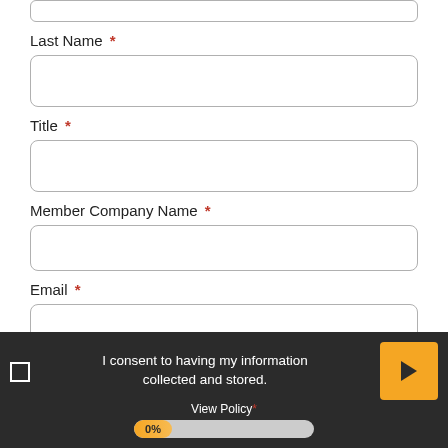Last Name *
[Figure (other): Empty text input field for Last Name]
Title *
[Figure (other): Empty text input field for Title]
Member Company Name *
[Figure (other): Empty text input field for Member Company Name]
Email *
[Figure (other): Empty text input field for Email]
I consent to having my information collected and stored.
View Policy *
0%